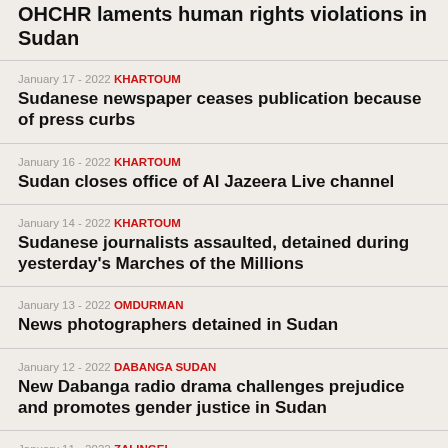OHCHR laments human rights violations in Sudan
January 17 - 2022 KHARTOUM
Sudanese newspaper ceases publication because of press curbs
January 16 - 2022 KHARTOUM
Sudan closes office of Al Jazeera Live channel
January 14 - 2022 KHARTOUM
Sudanese journalists assaulted, detained during yesterday's Marches of the Millions
January 13 - 2022 OMDURMAN
News photographers detained in Sudan
January 12 - 2022 DABANGA SUDAN
New Dabanga radio drama challenges prejudice and promotes gender justice in Sudan
January 11 - 2022 ZALINGEI